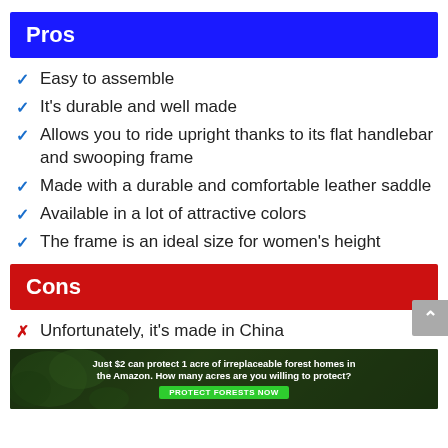Pros
Easy to assemble
It's durable and well made
Allows you to ride upright thanks to its flat handlebar and swooping frame
Made with a durable and comfortable leather saddle
Available in a lot of attractive colors
The frame is an ideal size for women's height
Cons
Unfortunately, it's made in China
[Figure (photo): Forest conservation advertisement: 'Just $2 can protect 1 acre of irreplaceable forest homes in the Amazon. How many acres are you willing to protect?' with a 'PROTECT FORESTS NOW' button, background of forest/Amazon imagery.]